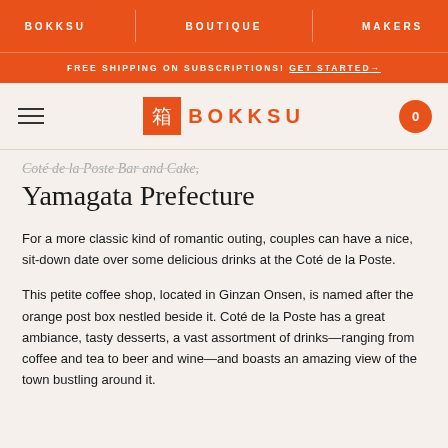BOKKSU   BOUTIQUE   MAKERS
FREE SHIPPING ON SUBSCRIPTIONS! GET STARTED→
BOKKSU
Yamagata Prefecture
For a more classic kind of romantic outing, couples can have a nice, sit-down date over some delicious drinks at the Coté de la Poste.
This petite coffee shop, located in Ginzan Onsen, is named after the orange post box nestled beside it. Coté de la Poste has a great ambiance, tasty desserts, a vast assortment of drinks—ranging from coffee and tea to beer and wine—and boasts an amazing view of the town bustling around it.